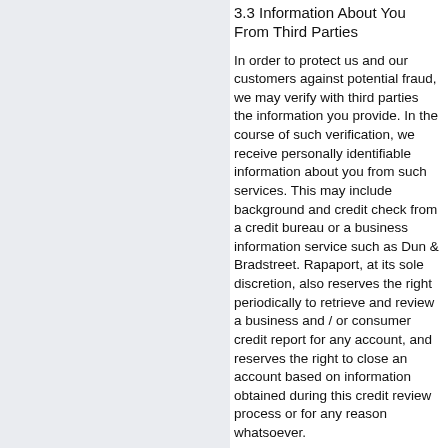3.3 Information About You From Third Parties
In order to protect us and our customers against potential fraud, we may verify with third parties the information you provide. In the course of such verification, we receive personally identifiable information about you from such services. This may include background and credit check from a credit bureau or a business information service such as Dun & Bradstreet. Rapaport, at its sole discretion, also reserves the right periodically to retrieve and review a business and / or consumer credit report for any account, and reserves the right to close an account based on information obtained during this credit review process or for any reason whatsoever.